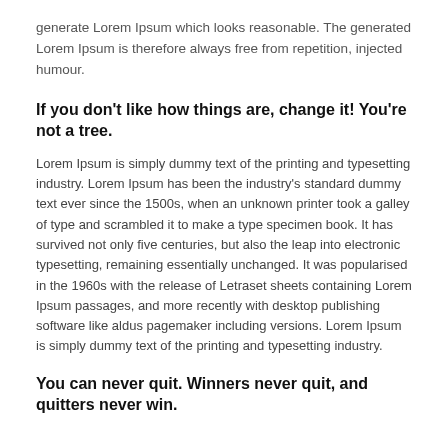generate Lorem Ipsum which looks reasonable. The generated Lorem Ipsum is therefore always free from repetition, injected humour.
If you don't like how things are, change it! You're not a tree.
Lorem Ipsum is simply dummy text of the printing and typesetting industry. Lorem Ipsum has been the industry's standard dummy text ever since the 1500s, when an unknown printer took a galley of type and scrambled it to make a type specimen book. It has survived not only five centuries, but also the leap into electronic typesetting, remaining essentially unchanged. It was popularised in the 1960s with the release of Letraset sheets containing Lorem Ipsum passages, and more recently with desktop publishing software like aldus pagemaker including versions. Lorem Ipsum is simply dummy text of the printing and typesetting industry.
You can never quit. Winners never quit, and quitters never win.